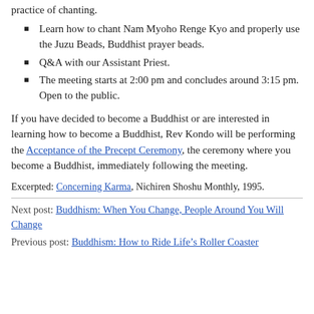practice of chanting.
Learn how to chant Nam Myoho Renge Kyo and properly use the Juzu Beads, Buddhist prayer beads.
Q&A with our Assistant Priest.
The meeting starts at 2:00 pm and concludes around 3:15 pm. Open to the public.
If you have decided to become a Buddhist or are interested in learning how to become a Buddhist, Rev Kondo will be performing the Acceptance of the Precept Ceremony, the ceremony where you become a Buddhist, immediately following the meeting.
Excerpted: Concerning Karma, Nichiren Shoshu Monthly, 1995.
Next post: Buddhism: When You Change, People Around You Will Change
Previous post: Buddhism: How to Ride Life’s Roller Coaster